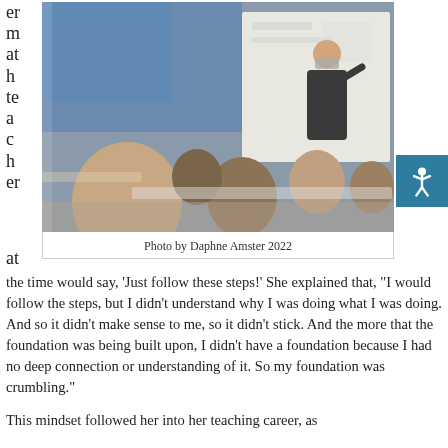er
m
at
h
te
a
c
h
er
at
[Figure (photo): A classroom scene with students seated at desks viewed from behind, and a masked teacher standing at the front pointing to a whiteboard.]
Photo by Daphne Amster 2022
the time would say, 'Just follow these steps!' She explained that, "I would follow the steps, but I didn't understand why I was doing what I was doing. And so it didn't make sense to me, so it didn't stick. And the more that the foundation was being built upon, I didn't have a foundation because I had no deep connection or understanding of it. So my foundation was crumbling."
This mindset followed her into her teaching career, as